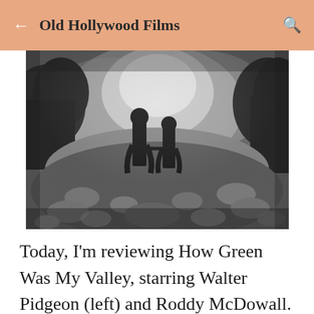Old Hollywood Films
[Figure (photo): Black and white still from How Green Was My Valley showing two silhouetted figures holding hands in a flower-filled valley with misty hills in background]
Today, I'm reviewing How Green Was My Valley, starring Walter Pidgeon (left) and Roddy McDowall. This film about life in a Welsh coal-mining village won the 1941 Academy Award for